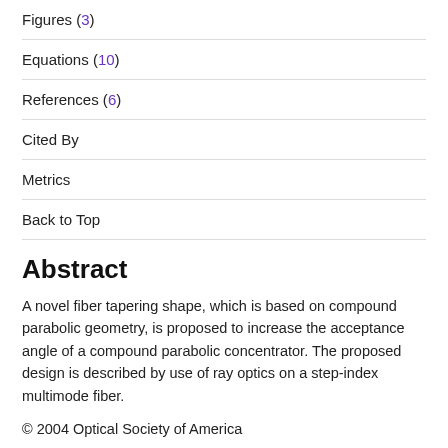Figures (3)
Equations (10)
References (6)
Cited By
Metrics
Back to Top
Abstract
A novel fiber tapering shape, which is based on compound parabolic geometry, is proposed to increase the acceptance angle of a compound parabolic concentrator. The proposed design is described by use of ray optics on a step-index multimode fiber.
© 2004 Optical Society of America
Full Article  |  PDF Article